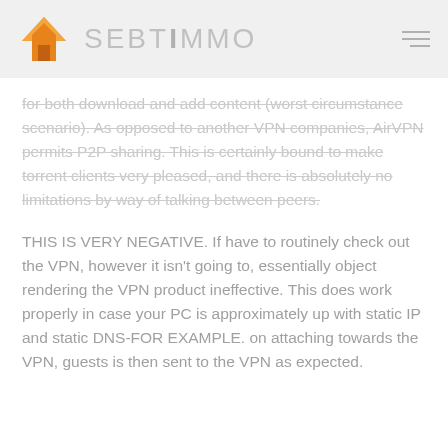SEBT IMMO
for both download and add content (worst circumstance scenario). As opposed to another VPN companies, AirVPN permits P2P sharing. This is certainly bound to make torrent clients very pleased, and there is absolutely no limitations by way of talking between peers.
THIS IS VERY NEGATIVE. If have to routinely check out the VPN, however it isn't going to, essentially object rendering the VPN product ineffective. This does work properly in case your PC is approximately up with static IP and static DNS- FOR EXAMPLE. on attaching towards the VPN, guests is then sent to the VPN as expected.